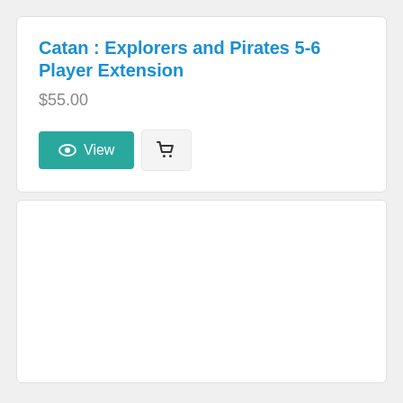Catan : Explorers and Pirates 5-6 Player Extension
$55.00
[Figure (screenshot): Teal 'View' button with eye icon, and a shopping cart icon button next to it]
[Figure (other): Empty white card/product area below the first product card]